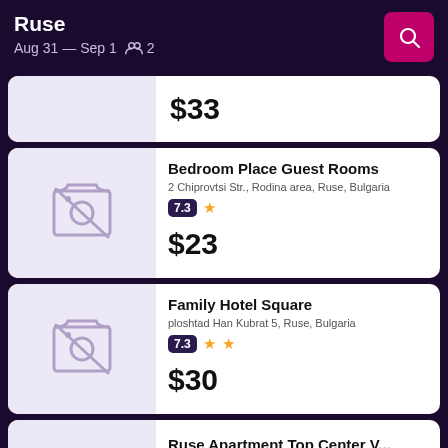Ruse
Aug 31 — Sep 1  2
$33
Bedroom Place Guest Rooms
2 Chiprovtsi Str., Rodina area, Ruse, Bulgaria
7.3 ★
$23
Family Hotel Square
ploshtad Han Kubrat 5, Ruse, Bulgaria
7.3 ★★
$30
Ruse Apartment Top Center V...